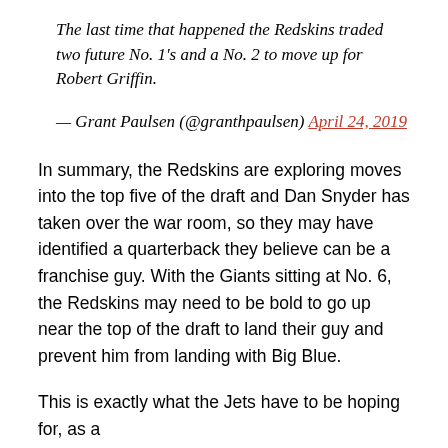The last time that happened the Redskins traded two future No. 1's and a No. 2 to move up for Robert Griffin.
— Grant Paulsen (@granthpaulsen) April 24, 2019
In summary, the Redskins are exploring moves into the top five of the draft and Dan Snyder has taken over the war room, so they may have identified a quarterback they believe can be a franchise guy. With the Giants sitting at No. 6, the Redskins may need to be bold to go up near the top of the draft to land their guy and prevent him from landing with Big Blue.
This is exactly what the Jets have to be hoping for, as a